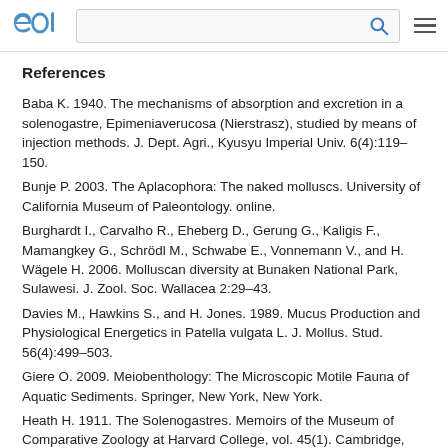eol [logo] [search bar] [menu]
References
Baba K. 1940. The mechanisms of absorption and excretion in a solenogastre, Epimeniaverucosa (Nierstrasz), studied by means of injection methods. J. Dept. Agri., Kyusyu Imperial Univ. 6(4):119–150.
Bunje P. 2003. The Aplacophora: The naked molluscs. University of California Museum of Paleontology. online.
Burghardt I., Carvalho R., Eheberg D., Gerung G., Kaligis F., Mamangkey G., Schrödl M., Schwabe E., Vonnemann V., and H. Wägele H. 2006. Molluscan diversity at Bunaken National Park, Sulawesi. J. Zool. Soc. Wallacea 2:29–43.
Davies M., Hawkins S., and H. Jones. 1989. Mucus Production and Physiological Energetics in Patella vulgata L. J. Mollus. Stud. 56(4):499–503.
Giere O. 2009. Meiobenthology: The Microscopic Motile Fauna of Aquatic Sediments. Springer, New York, New York.
Heath H. 1911. The Solenogastres. Memoirs of the Museum of Comparative Zoology at Harvard College, vol. 45(1). Cambridge, Massachusetts.
Marin F., Corstjens P., de Gaulejac B., de Vrind-De Jong E. and P.